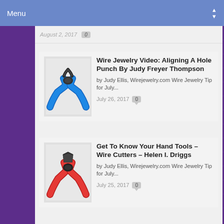Menu
August 2, 2017   0
Wire Jewelry Video: Aligning A Hole Punch By Judy Freyer Thompson
by Judy Ellis, Wirejewelry.com Wire Jewelry Tip for July...
July 26, 2017   0
Get To Know Your Hand Tools – Wire Cutters – Helen I. Driggs
by Judy Ellis, Wirejewelry.com Wire Jewelry Tip for July...
July 25, 2017   0
SEARCH THE WIRE JEWELRY BLOG